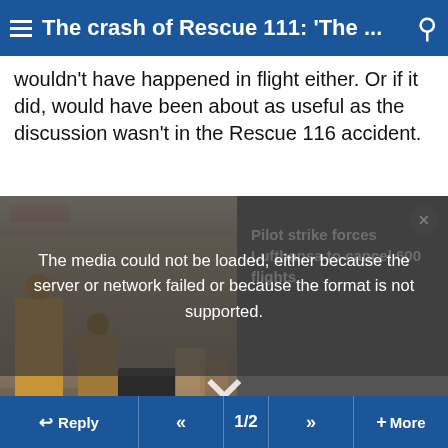The crash of Rescue 111: 'The ...
wouldn't have happened in flight either. Or if it did, would have been about as useful as the discussion wasn't in the Rescue 116 accident.
[Figure (screenshot): Video player showing an airport/station scene with an error overlay reading 'The media could not be loaded, either because the server or network failed or because the format is not supported.' A related story panel shows 'Pilot strike forces Lufthansa to cancel 600 flights'. A large X close button is visible.]
Reply  <<  1/2  >>  + More